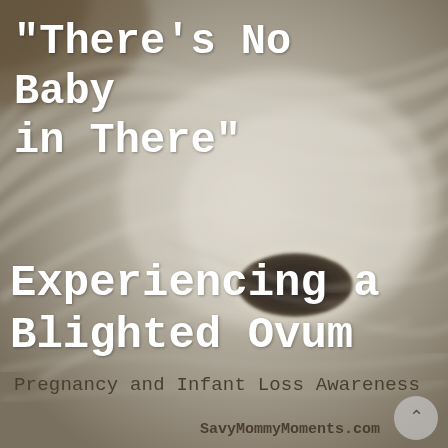[Figure (photo): Grayscale ultrasound image showing a gestational sac (blighted ovum) — a dark oval/elliptical empty sac visible against swirling light-gray tissue. The background is sepia-toned with mottled textures suggesting an ultrasound scan.]
"There's No Baby in There"
Experiencing a Blighted Ovum
Pregnancy and Infant Loss Awareness
SavyMommyMoments.com